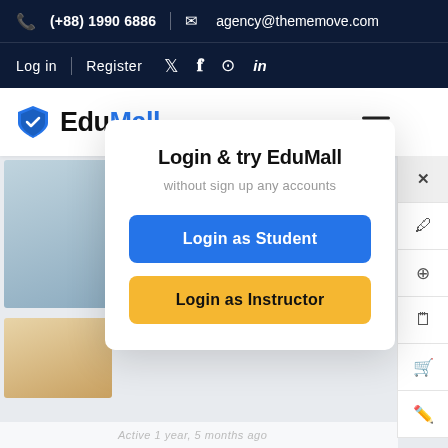(+88) 1990 6886  |  agency@thememove.com
Log in  |  Register  (social icons: Twitter, Facebook, Instagram, LinkedIn)
[Figure (logo): EduMall logo with blue shield icon and bold text 'EduMall']
Login & try EduMall
without sign up any accounts
Login as Student
Login as Instructor
Active 1 year, 5 months ago